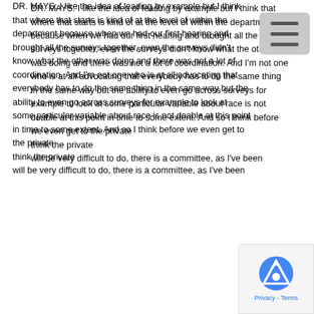DR. MAYS: I like the idea of leading by example but I think that where that starts is kind of at the level of within the department because when we had our first hearing and brought all the surveys together, even the surveys didn't know what the other was doing and there was not a lot of coordination. And I'm not one who is at all advocating that everybody has to do the same thing in the same way but the ability to even go across surveys for example to look at some particular variable about race is not doable at this point in time to some extent. And so I think before we even get to the private think the private will be very difficult to do, there is a committee, as I've been